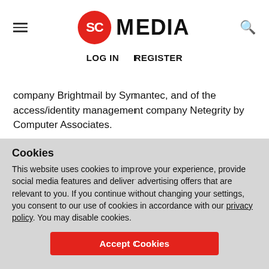SC MEDIA | LOG IN | REGISTER
company Brightmail by Symantec, and of the access/identity management company Netegrity by Computer Associates.
Moskowitz also states that "in the past few months, leading security vendors have recognized the importance of bolstering their consulting expertise to better address large-scale implementations and the increasing complexity of security architectures.
Cookies
This website uses cookies to improve your experience, provide social media features and deliver advertising offers that are relevant to you. If you continue without changing your settings, you consent to our use of cookies in accordance with our privacy policy. You may disable cookies.
Accept Cookies